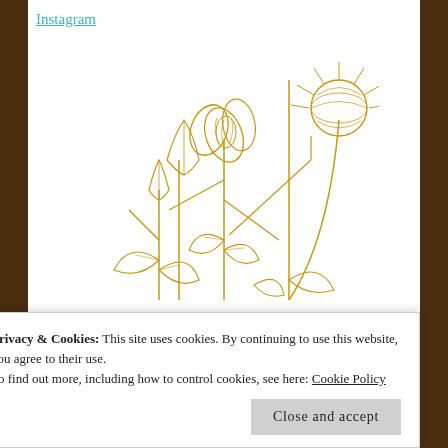Instagram
[Figure (illustration): Gold line-art illustration of flowers and a butterfly on a stem, decorative botanical motif in golden/amber color]
It's Giveaway Time!!
Privacy & Cookies: This site uses cookies. By continuing to use this website, you agree to their use.
To find out more, including how to control cookies, see here: Cookie Policy
Close and accept